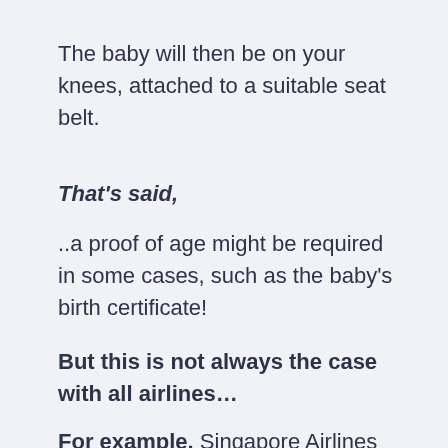The baby will then be on your knees, attached to a suitable seat belt.
That's said,
..a proof of age might be required in some cases, such as the baby's birth certificate!
But this is not always the case with all airlines…
For example, Singapore Airlines charges a specific percentage of adult fare when flying with your newborn for a domestic flight.